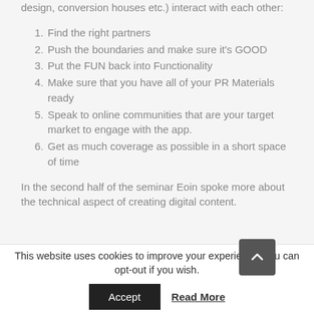design, conversion houses etc.) interact with each other:
1. Find the right partners
2. Push the boundaries and make sure it's GOOD
3. Put the FUN back into Functionality
4. Make sure that you have all of your PR Materials ready
5. Speak to online communities that are your target market to engage with the app.
6. Get as much coverage as possible in a short space of time
In the second half of the seminar Eoin spoke more about the technical aspect of creating digital content.
This website uses cookies to improve your experience, you can opt-out if you wish.